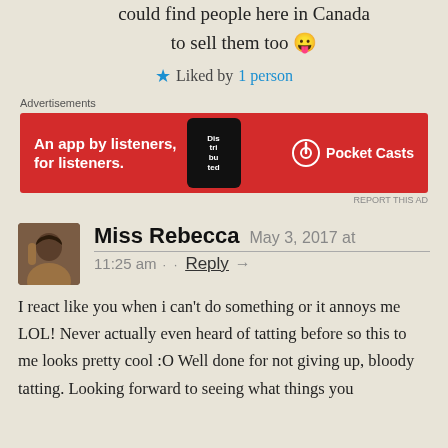could find people here in Canada to sell them too 😛
★ Liked by 1 person
[Figure (other): Pocket Casts advertisement banner: red background, text 'An app by listeners, for listeners.' with phone image and Pocket Casts logo]
Miss Rebecca  May 3, 2017 at 11:25 am · · Reply →
I react like you when i can't do something or it annoys me LOL! Never actually even heard of tatting before so this to me looks pretty cool :O Well done for not giving up, bloody tatting. Looking forward to seeing what things you